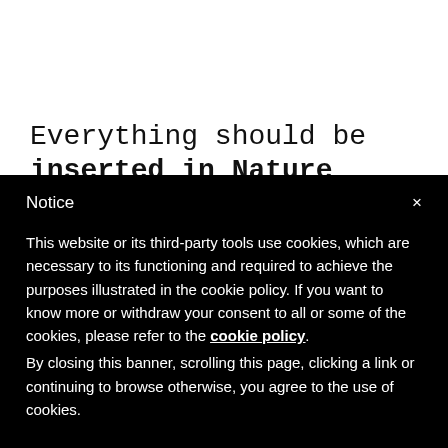Everything should be inserted in Nature
Notice
This website or its third-party tools use cookies, which are necessary to its functioning and required to achieve the purposes illustrated in the cookie policy. If you want to know more or withdraw your consent to all or some of the cookies, please refer to the cookie policy. By closing this banner, scrolling this page, clicking a link or continuing to browse otherwise, you agree to the use of cookies.